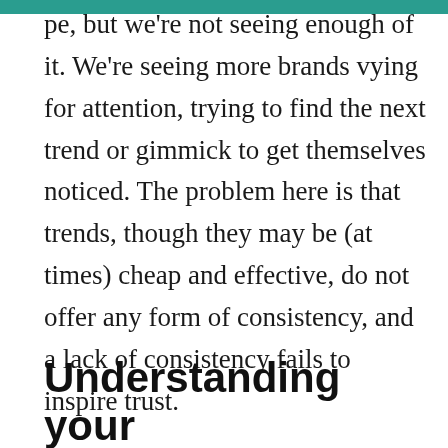pe, but we're not seeing enough of it. We're seeing more brands vying for attention, trying to find the next trend or gimmick to get themselves noticed. The problem here is that trends, though they may be (at times) cheap and effective, do not offer any form of consistency, and a lack of consistency fails to inspire trust.
Understanding your brand